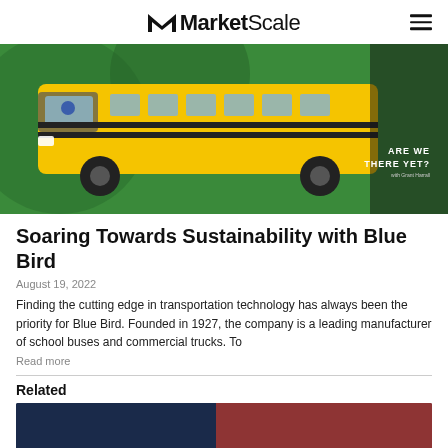MarketScale
[Figure (photo): Yellow school bus against a green background with text 'ARE WE THERE YET?' in the lower right corner]
Soaring Towards Sustainability with Blue Bird
August 19, 2022
Finding the cutting edge in transportation technology has always been the priority for Blue Bird. Founded in 1927, the company is a leading manufacturer of school buses and commercial trucks. To
Read more
Related
[Figure (photo): Partial view of a related article image showing dark blue and red tones]